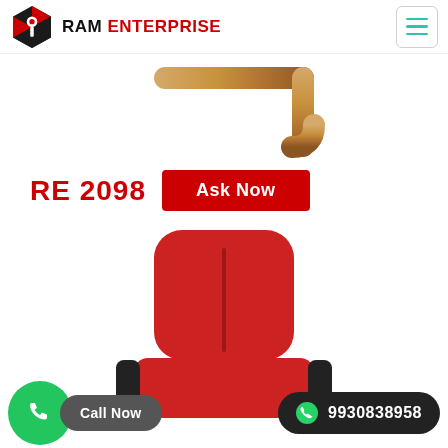RAM ENTERPRISE
[Figure (photo): Close-up of a metal pipe/armrest component of a chair, curved tubular golden/bronze-colored metal rod on white background]
RE 2098
Ask Now
[Figure (photo): Red padded office chair with black armrests, showing backrest and seat, partially cropped at bottom]
Call Now
9930838958